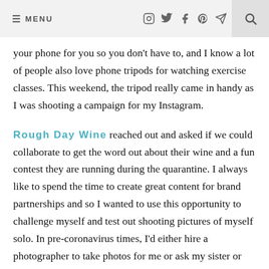≡ MENU  [instagram] [twitter] [facebook] [pinterest] [send] [search]
your phone for you so you don't have to, and I know a lot of people also love phone tripods for watching exercise classes. This weekend, the tripod really came in handy as I was shooting a campaign for my Instagram.
Rough Day Wine reached out and asked if we could collaborate to get the word out about their wine and a fun contest they are running during the quarantine. I always like to spend the time to create great content for brand partnerships and so I wanted to use this opportunity to challenge myself and test out shooting pictures of myself solo. In pre-coronavirus times, I'd either hire a photographer to take photos for me or ask my sister or Monica for a favor. That's obviously not possible during